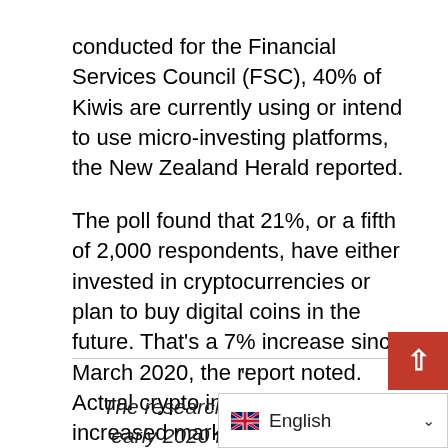conducted for the Financial Services Council (FSC), 40% of Kiwis are currently using or intend to use micro-investing platforms, the New Zealand Herald reported.
The poll found that 21%, or a fifth of 2,000 respondents, have either invested in cryptocurrencies or plan to buy digital coins in the future. That’s a 7% increase since March 2020, the report noted. Actual crypto investors have increased markedly, from 3% to 9.5%, between March last year and April 2021. FSC Chief Executive Richard Klipin commented:
The research shows that since early 2020 New Zealand has followed the global trend towards investing in shares, as well as more speculative assets like cryptocurr…